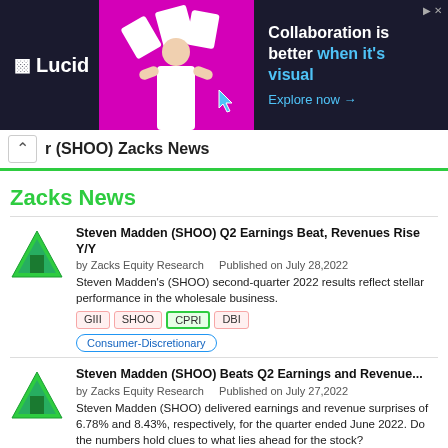[Figure (other): Lucid advertisement banner: dark background with magenta graphic, woman figure, text 'Collaboration is better when it's visual', 'Explore now →']
r (SHOO) Zacks News
Zacks News
Steven Madden (SHOO) Q2 Earnings Beat, Revenues Rise Y/Y
by Zacks Equity Research    Published on July 28,2022
Steven Madden's (SHOO) second-quarter 2022 results reflect stellar performance in the wholesale business.
GIII  SHOO  CPRI  DBI
Consumer-Discretionary
Steven Madden (SHOO) Beats Q2 Earnings and Revenue...
by Zacks Equity Research    Published on July 27,2022
Steven Madden (SHOO) delivered earnings and revenue surprises of 6.78% and 8.43%, respectively, for the quarter ended June 2022. Do the numbers hold clues to what lies ahead for the stock?
SHOO  WWW